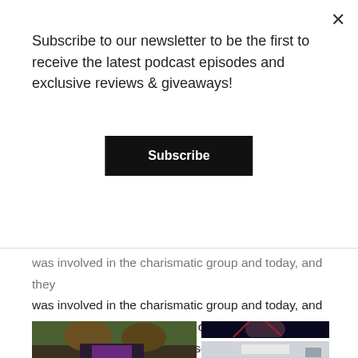Subscribe to our newsletter to be the first to receive the latest podcast episodes and exclusive reviews & giveaways!
Subscribe
was involved in the charismatic group and today, and they extended the exploration of how trauma can continue to echo across a person's timeline.
[Figure (photo): Left photo: Two people in traditional indigenous costumes with colorful headdresses, a figure in purple and pink costume below. Projected on a screen in background.]
[Figure (photo): Top right photo: A performer in a striped poncho with red branch-like headdress against dark blue background.]
[Figure (photo): Bottom right photo: Outdoor scene, light sky with a small figure visible.]